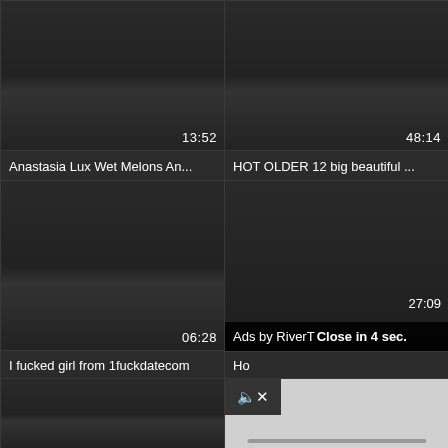[Figure (screenshot): Dark video thumbnail with duration 13:52 in bottom right]
[Figure (screenshot): Dark video thumbnail with duration 48:14 in bottom right]
Anastasia Lux Wet Melons An...
HOT OLDER 12 big beautiful ...
[Figure (screenshot): Dark video thumbnail with duration 06:28 and ad overlay 'Ads by RiverT Close in 4 sec.']
[Figure (screenshot): Dark video thumbnail with duration 27:09 and ad overlay]
I fucked girl from 1fuckdatecom
Ho
[Figure (screenshot): Dark video thumbnail bottom left]
[Figure (screenshot): Light grey ad content area with mute button and scrollbar]